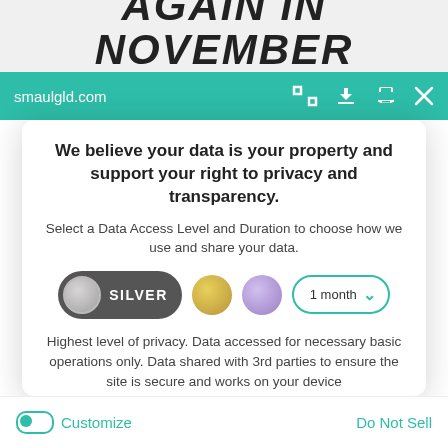[Figure (screenshot): Clipped top portion showing large bold italic text 'AGAIN IN NOVEMBER' partially visible]
smaulgld.com
We believe your data is your property and support your right to privacy and transparency.
Select a Data Access Level and Duration to choose how we use and share your data.
[Figure (infographic): Privacy controls row: Silver toggle button selected, Gold circle option, Purple circle option, and 1 month dropdown selector]
Highest level of privacy. Data accessed for necessary basic operations only. Data shared with 3rd parties to ensure the site is secure and works on your device
Save my preferences
Customize
Do Not Sell